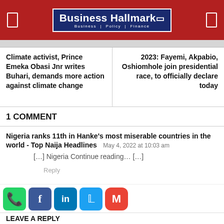[Figure (logo): Business Hallmark logo — white text on dark blue background, subtitle: Business | Policy | Finance, inside red header bar]
Climate activist, Prince Emeka Obasi Jnr writes Buhari, demands more action against climate change
2023: Fayemi, Akpabio, Oshiomhole join presidential race, to officially declare today
1 COMMENT
Nigeria ranks 11th in Hanke's most miserable countries in the world - Top Naija Headlines  May 4, 2022 at 10:03 am
[…] Nigeria Continue reading… […]
Reply
[Figure (infographic): Social share buttons: WhatsApp (green), Facebook (blue), LinkedIn (blue), Twitter (light blue), Gmail (red)]
LEAVE A REPLY